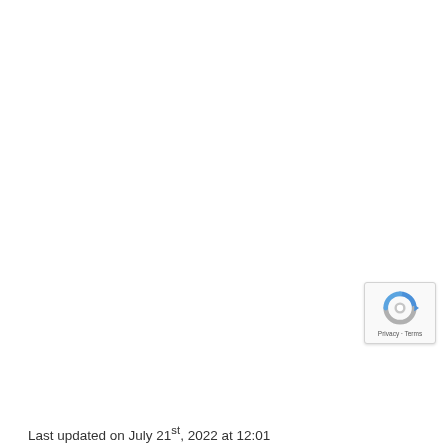[Figure (logo): Google reCAPTCHA badge widget in bottom-right corner showing the reCAPTCHA logo (blue/grey arrow circle icon) with Privacy and Terms links below]
Last updated on July 21st, 2022 at 12:01